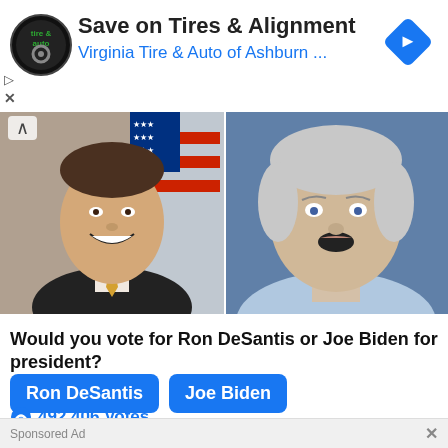[Figure (screenshot): Advertisement banner for Virginia Tire & Auto of Ashburn showing logo, title 'Save on Tires & Alignment', subtitle 'Virginia Tire & Auto of Ashburn ...' and a blue navigation arrow icon]
[Figure (photo): Two side-by-side photos: left shows Ron DeSantis smiling in a suit with American flag background; right shows Joe Biden speaking]
Would you vote for Ron DeSantis or Joe Biden for president?
Ron DeSantis
Joe Biden
492,406 Votes
Sponsored Ad